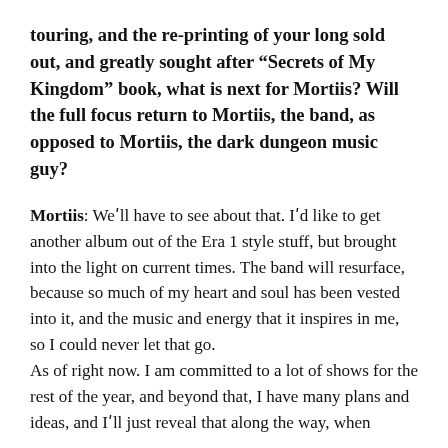touring, and the re-printing of your long sold out, and greatly sought after “Secrets of My Kingdom” book, what is next for Mortiis? Will the full focus return to Mortiis, the band, as opposed to Mortiis, the dark dungeon music guy?
Mortiis: We´ll have to see about that. I´d like to get another album out of the Era 1 style stuff, but brought into the light on current times. The band will resurface, because so much of my heart and soul has been vested into it, and the music and energy that it inspires in me, so I could never let that go.
As of right now. I am committed to a lot of shows for the rest of the year, and beyond that, I have many plans and ideas, and I´ll just reveal that along the way, when